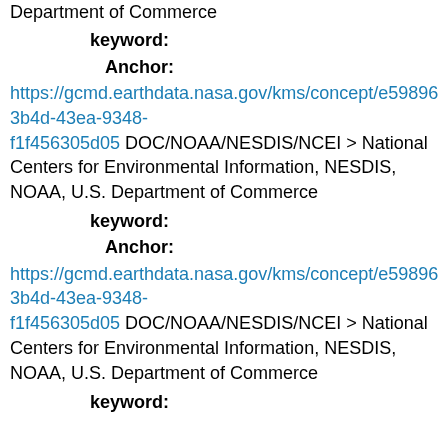Department of Commerce
keyword:
Anchor:
https://gcmd.earthdata.nasa.gov/kms/concept/e59896 3b4d-43ea-9348-f1f456305d05 DOC/NOAA/NESDIS/NCEI > National Centers for Environmental Information, NESDIS, NOAA, U.S. Department of Commerce
keyword:
Anchor:
https://gcmd.earthdata.nasa.gov/kms/concept/e59896 3b4d-43ea-9348-f1f456305d05 DOC/NOAA/NESDIS/NCEI > National Centers for Environmental Information, NESDIS, NOAA, U.S. Department of Commerce
keyword: